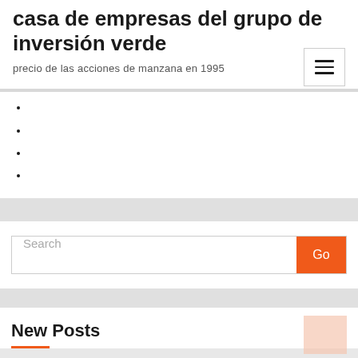casa de empresas del grupo de inversión verde
precio de las acciones de manzana en 1995
Search
New Posts